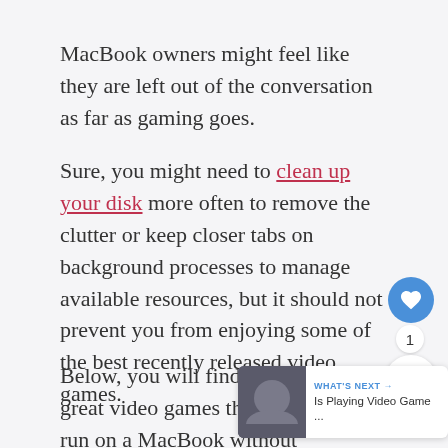MacBook owners might feel like they are left out of the conversation as far as gaming goes.
Sure, you might need to clean up your disk more often to remove the clutter or keep closer tabs on background processes to manage available resources, but it should not prevent you from enjoying some of the best recently released video games.
Below, you will find a list of great video games that should run on a MacBook without any problems.